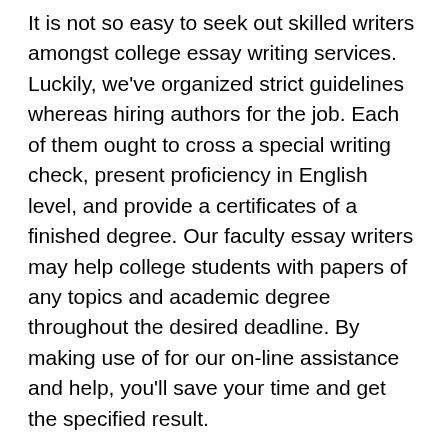It is not so easy to seek out skilled writers amongst college essay writing services. Luckily, we've organized strict guidelines whereas hiring authors for the job. Each of them ought to cross a special writing check, present proficiency in English level, and provide a certificates of a finished degree. Our faculty essay writers may help college students with papers of any topics and academic degree throughout the desired deadline. By making use of for our on-line assistance and help, you'll save your time and get the specified result.
The analysis paper author service being provided by our company, EduHelpHub, is the finest as it provides genuine writing papers service in probably the most well timed method attainable. To be a reliable and efficient writing essays service for college kids, our firm ticks all the boxes. This is what makes our paper writing service one of the best for writing papers. It?s possible to buy a